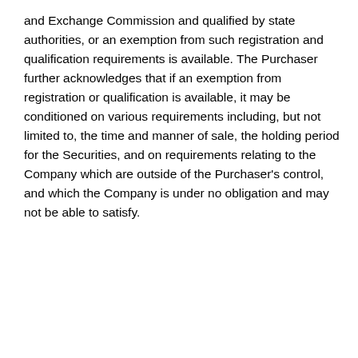and Exchange Commission and qualified by state authorities, or an exemption from such registration and qualification requirements is available. The Purchaser further acknowledges that if an exemption from registration or qualification is available, it may be conditioned on various requirements including, but not limited to, the time and manner of sale, the holding period for the Securities, and on requirements relating to the Company which are outside of the Purchaser's control, and which the Company is under no obligation and may not be able to satisfy.